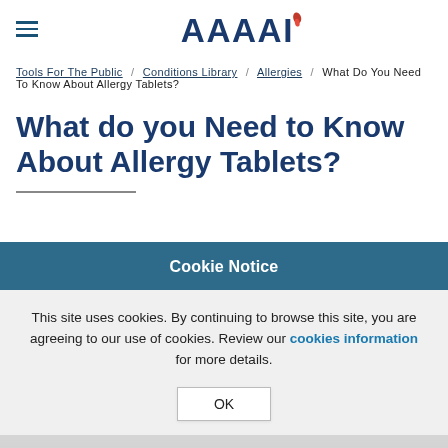AAAAI logo with hamburger menu
Tools For The Public / Conditions Library / Allergies / What Do You Need To Know About Allergy Tablets?
What do you Need to Know About Allergy Tablets?
Cookie Notice
This site uses cookies. By continuing to browse this site, you are agreeing to our use of cookies. Review our cookies information for more details.
OK